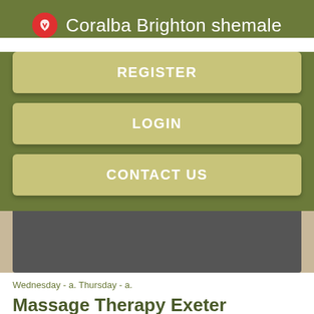Coralba Brighton shemale
REGISTER
LOGIN
CONTACT US
[Figure (screenshot): Dark gray rectangular image area]
Wednesday - a. Thursday - a.
Massage Therapy Exeter
Friday - a. To schedule an appointment, please call us at We will be happy to assist you.